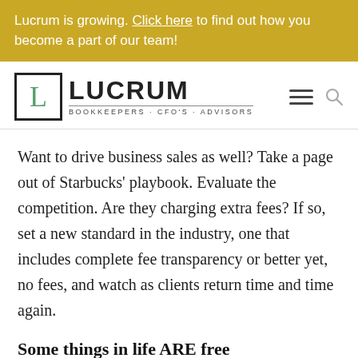Lucrum is growing. Click here to find out how you become a part of our team!
[Figure (logo): Lucrum Bookkeepers · CFO's · Advisors logo with stylized L in a square box]
Want to drive business sales as well? Take a page out of Starbucks' playbook. Evaluate the competition. Are they charging extra fees? If so, set a new standard in the industry, one that includes complete fee transparency or better yet, no fees, and watch as clients return time and time again.
Some things in life ARE free